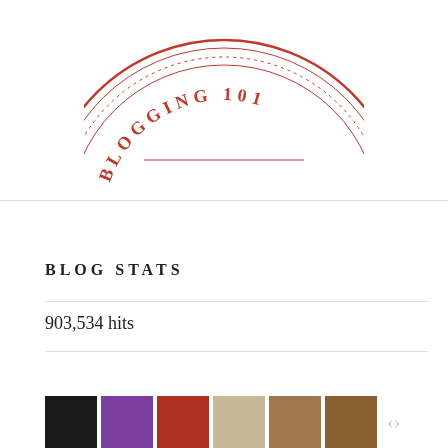[Figure (logo): Partial circular stamp/badge logo with text 'BLOGGING 101' in orange/red color, circular border with dotted inner ring]
BLOG STATS
903,534 hits
[Figure (photo): Row of thumbnail images: dark photo, purple photo, red photo, light/tan photo, face portrait photo, brown photo]